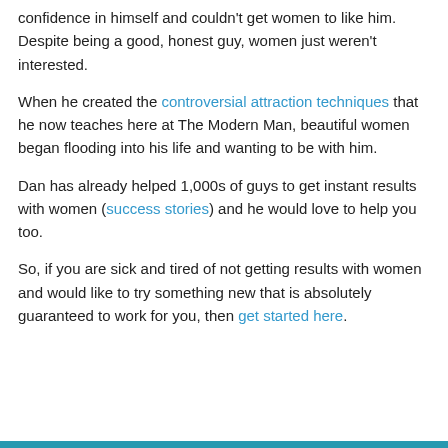confidence in himself and couldn't get women to like him. Despite being a good, honest guy, women just weren't interested.
When he created the controversial attraction techniques that he now teaches here at The Modern Man, beautiful women began flooding into his life and wanting to be with him.
Dan has already helped 1,000s of guys to get instant results with women (success stories) and he would love to help you too.
So, if you are sick and tired of not getting results with women and would like to try something new that is absolutely guaranteed to work for you, then get started here.